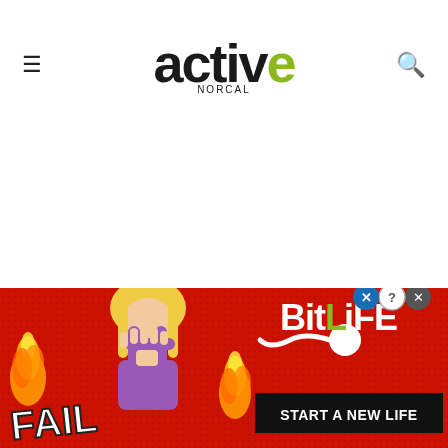active NORCAL
[Figure (illustration): Advertisement banner for BitLife mobile game with orange/red background, FAIL text, animated character, flames, sperm icon, BitLife logo and 'START A NEW LIFE' tagline]